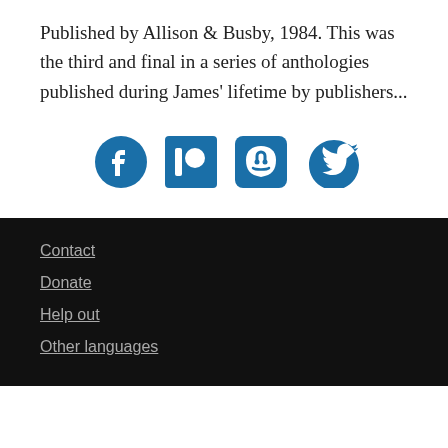Published by Allison & Busby, 1984. This was the third and final in a series of anthologies published during James' lifetime by publishers...
[Figure (illustration): Four social media icons: Facebook, Patreon, Mastodon, Twitter — displayed in blue]
Contact
Donate
Help out
Other languages